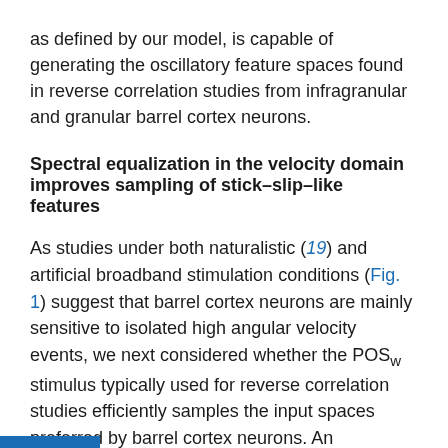as defined by our model, is capable of generating the oscillatory feature spaces found in reverse correlation studies from infragranular and granular barrel cortex neurons.
Spectral equalization in the velocity domain improves sampling of stick–slip–like features
As studies under both naturalistic (19) and artificial broadband stimulation conditions (Fig. 1) suggest that barrel cortex neurons are mainly sensitive to isolated high angular velocity events, we next considered whether the POSw stimulus typically used for reverse correlation studies efficiently samples the input spaces preferred by barrel cortex neurons. An incomplete or inadequate set of input configurations could (i) preclude the identification of some of the